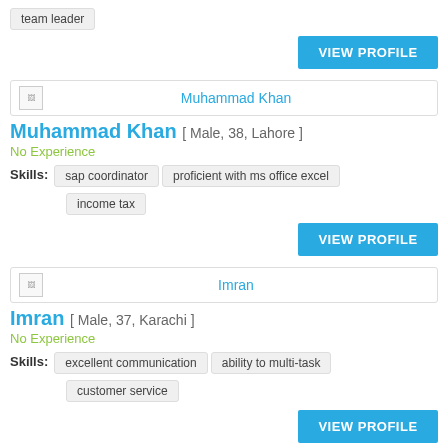team leader
VIEW PROFILE
[Figure (other): Profile photo placeholder for Muhammad Khan]
Muhammad Khan
Muhammad Khan [ Male, 38, Lahore ]
No Experience
Skills: sap coordinator | proficient with ms office excel | income tax
VIEW PROFILE
[Figure (other): Profile photo placeholder for Imran]
Imran
Imran [ Male, 37, Karachi ]
No Experience
Skills: excellent communication | ability to multi-task | customer service
VIEW PROFILE
[Figure (other): Profile photo placeholder for Sohaib Roomy Salih]
Sohaib Roomy Salih